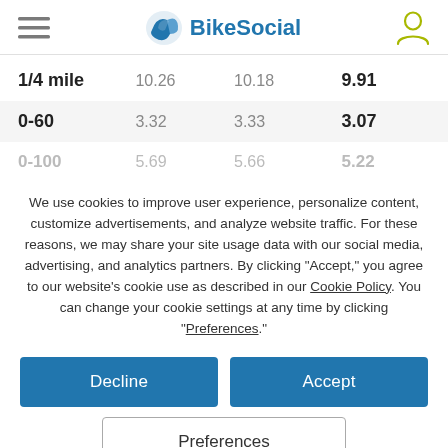BikeSocial
|  |  |  |  |
| --- | --- | --- | --- |
| 1/4 mile | 10.26 | 10.18 | 9.91 |
| 0-60 | 3.32 | 3.33 | 3.07 |
| 0-100 | 5.69 | 5.66 | 5.22 |
We use cookies to improve user experience, personalize content, customize advertisements, and analyze website traffic. For these reasons, we may share your site usage data with our social media, advertising, and analytics partners. By clicking "Accept," you agree to our website's cookie use as described in our Cookie Policy. You can change your cookie settings at any time by clicking "Preferences."